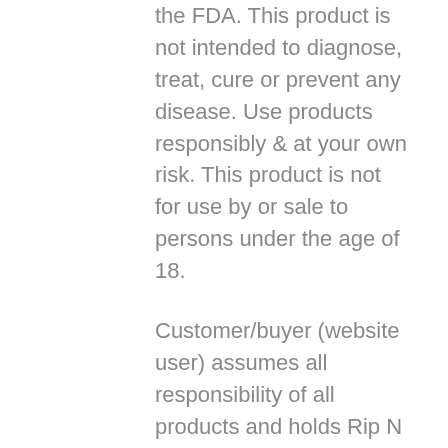the FDA. This product is not intended to diagnose, treat, cure or prevent any disease. Use products responsibly & at your own risk. This product is not for use by or sale to persons under the age of 18.
Customer/buyer (website user) assumes all responsibility of all products and holds Rip N Sip /Good Vibe Tribe Inc. (ripnsipcbd.com) harmless & exempt from legal responsibility for one’s actions.
You must not rely on the on this website information as an alternative to medical advice from your doctor or other professional healthcare provider. The information is not to be construed as advice and should not be treated as such. The general information on this website is provided “as is” without any representations or warranties, expressed or